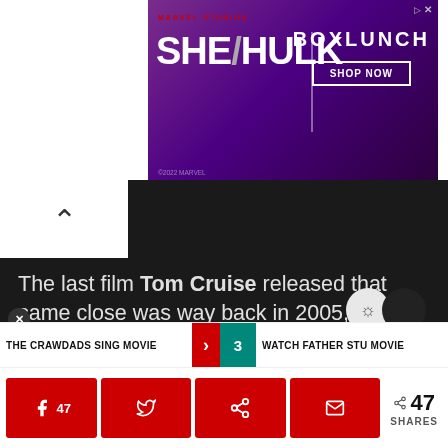[Figure (screenshot): Marvel Studios She-Hulk BoxLunch advertisement banner with purple background]
The last film Tom Cruise released that came close was way back in 2005, in Steven Spielberg's War Of The Worlds which made a total of £193 million ($243 million).
In the UK, Top Gun: Maverick continued to dominate the box office unopposed (although the Jubilee celebrations have affected...
THE CRAWDADS SING MOVIE  3  WATCH FATHER STU MOVIE   47 SHARES